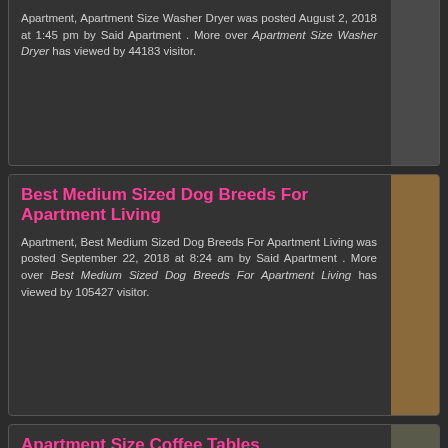Apartment, Apartment Size Washer Dryer was posted August 2, 2018 at 1:45 pm by Said Apartment . More over Apartment Size Washer Dryer has viewed by 44183 visitor.
Best Medium Sized Dog Breeds For Apartment Living
Apartment, Best Medium Sized Dog Breeds For Apartment Living was posted September 22, 2018 at 8:24 am by Said Apartment . More over Best Medium Sized Dog Breeds For Apartment Living has viewed by 105427 visitor.
Apartment Size Coffee Tables
Apartment, Apartment Size Coffee Tables was posted May 28, 2018 at 4:56 pm by Said Apartment . More over Apartment Size Coffee Tables has viewed by 32351 visitor.